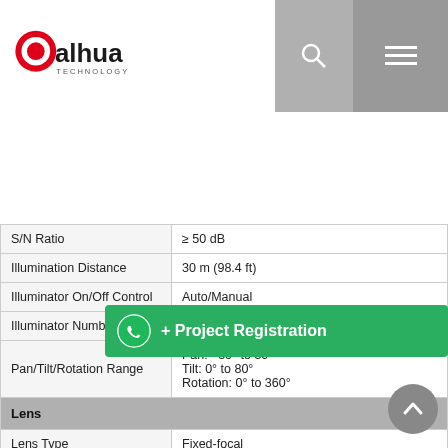[Figure (logo): Dahua Technology logo in red and black]
| Property | Value |
| --- | --- |
| S/N Ratio | ≥ 50 dB |
| Illumination Distance | 30 m (98.4 ft) |
| Illuminator On/Off Control | Auto/Manual |
| Illuminator Number | 8(IR) |
| Pan/Tilt/Rotation Range | Pan: –30° to 30°
Tilt: 0° to 80°
Rotation: 0° to 360° |
| Lens |  |
| Lens Type | Fixed-focal |
| Mount Type | M12 |
| Focal Length | 2.8 mm; |
| Max. Aperture | 2.8 mm: F1.6
3.6 mm: F1.6
6 mm: F1.6
8 mm: F2.0 |
|  | 2.8 mm: Horizontal 106° × Vertical 56° × Diagonal 126° |